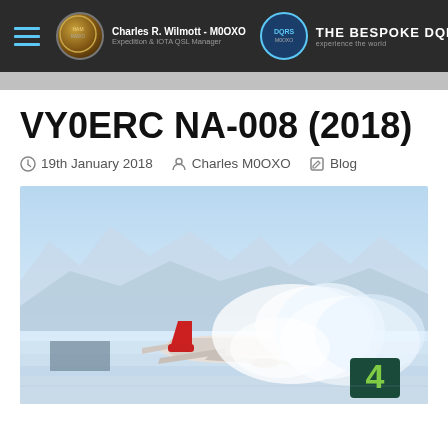Charles R. Wilmott - M0OXO | Expedition & IOTA QSL Manager | THE BESPOKE DQRS
VY0ERC NA-008 (2018)
19th January 2018   Charles M0OXO   Blog
[Figure (photo): An airplane on a snowy arctic runway kicking up a large snow cloud, with snow-covered mountains in the background and a runway marker showing number 4 in the foreground right.]